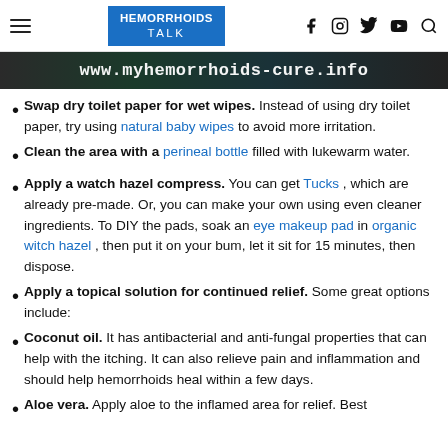HEMORRHOIDS TALK [with social icons]
[Figure (screenshot): Dark banner image showing www.myhemorrhoids-cure.info URL text]
Swap dry toilet paper for wet wipes. Instead of using dry toilet paper, try using natural baby wipes to avoid more irritation.
Clean the area with a perineal bottle filled with lukewarm water.
Apply a watch hazel compress. You can get Tucks, which are already pre-made. Or, you can make your own using even cleaner ingredients. To DIY the pads, soak an eye makeup pad in organic witch hazel, then put it on your bum, let it sit for 15 minutes, then dispose.
Apply a topical solution for continued relief. Some great options include:
Coconut oil. It has antibacterial and anti-fungal properties that can help with the itching. It can also relieve pain and inflammation and should help hemorrhoids heal within a few days.
Aloe vera. Apply aloe to the inflamed area for relief. Best